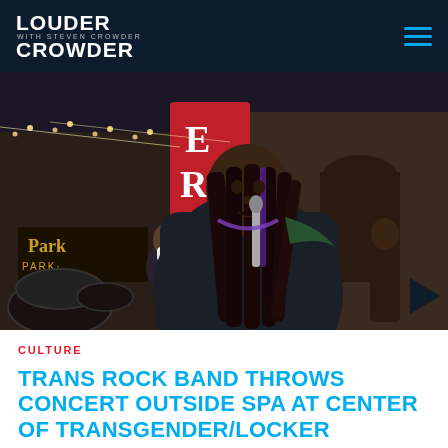Louder with Crowder
[Figure (photo): A performer with long braided hair holding a microphone on an outdoor stage at night, with a masked drummer visible in the background and brick buildings lit up behind them. A red banner with partial text 'ERS' is visible in the background.]
CULTURE
TRANS ROCK BAND THROWS CONCERT OUTSIDE SPA AT CENTER OF TRANSGENDER/LOCKER